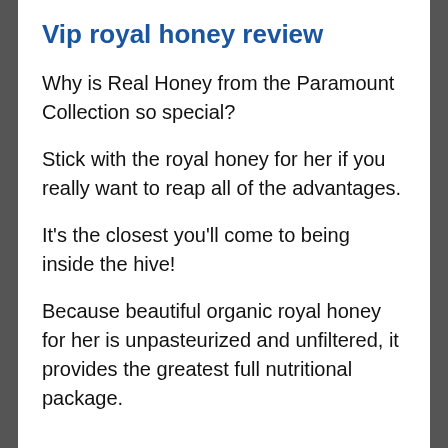Vip royal honey review
Why is Real Honey from the Paramount Collection so special?
Stick with the royal honey for her if you really want to reap all of the advantages.
It's the closest you'll come to being inside the hive!
Because beautiful organic royal honey for her is unpasteurized and unfiltered, it provides the greatest full nutritional package.